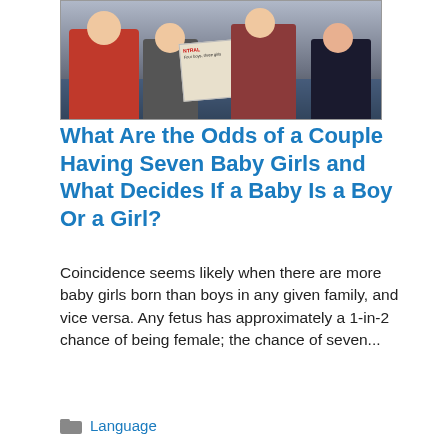[Figure (photo): A group of people sitting together, one holding a newspaper with headline 'Four boys, three girls']
What Are the Odds of a Couple Having Seven Baby Girls and What Decides If a Baby Is a Boy Or a Girl?
Coincidence seems likely when there are more baby girls born than boys in any given family, and vice versa. Any fetus has approximately a 1-in-2 chance of being female; the chance of seven...
Language